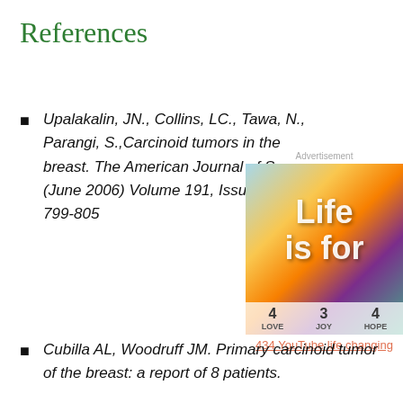References
Upalakalin, JN., Collins, LC., Tawa, N., Parangi, S.,Carcinoid tumors in the breast. The American Journal of Surgery, (June 2006) Volume 191, Issue 6, Pages 799-805
[Figure (other): Advertisement image with colorful background, text 'Life is for', numbers 4, 3, 4 with labels LOVE, JOY, HOPE, and a link '434 YouTube life changing']
Cubilla AL, Woodruff JM. Primary carcinoid tumor of the breast: a report of 8 patients.